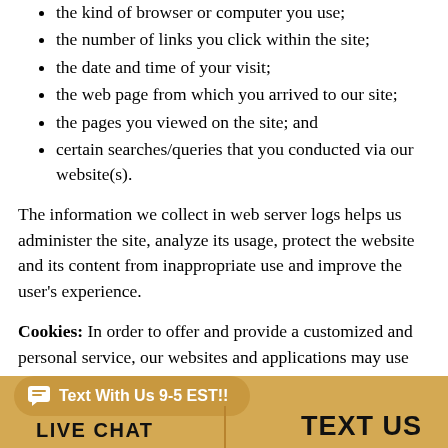the kind of browser or computer you use;
the number of links you click within the site;
the date and time of your visit;
the web page from which you arrived to our site;
the pages you viewed on the site; and
certain searches/queries that you conducted via our website(s).
The information we collect in web server logs helps us administer the site, analyze its usage, protect the website and its content from inappropriate use and improve the user's experience.
Cookies: In order to offer and provide a customized and personal service, our websites and applications may use cookies to store and help track information about you. Cookies are simply small pieces of data that are sent to your browser and stored on your
Text With Us 9-5 EST!!   LIVE CHAT   TEXT US